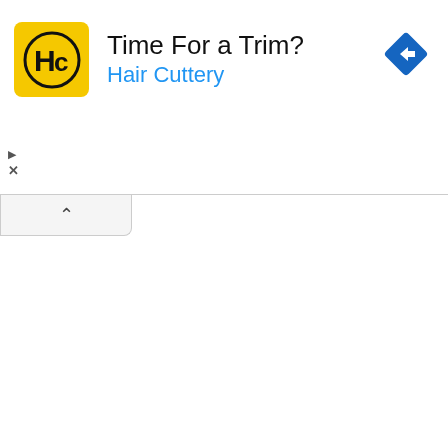[Figure (infographic): Hair Cuttery advertisement banner. Yellow square logo with 'HC' monogram in black circle, text 'Time For a Trim?' in black and 'Hair Cuttery' in blue, blue diamond navigation icon on the right. Ad controls (play triangle and X) on the left side below.]
[Figure (infographic): Collapse/minimize tab with upward caret chevron symbol, light gray background with rounded bottom-right corner.]
7. Little Havana